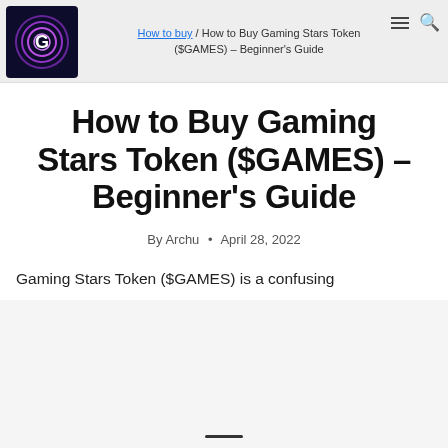How to buy / How to Buy Gaming Stars Token ($GAMES) – Beginner's Guide
How to Buy Gaming Stars Token ($GAMES) – Beginner's Guide
By Archu • April 28, 2022
Gaming Stars Token ($GAMES) is a confusing